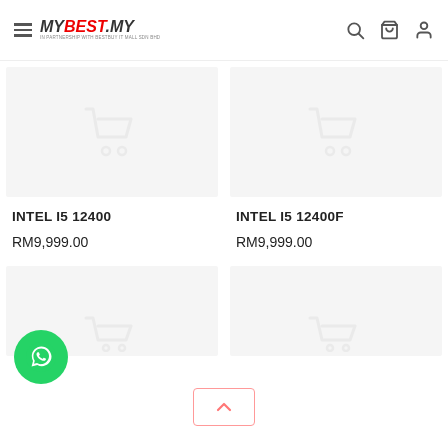MYBEST.MY — IN PARTNERSHIP WITH BESTBUY IT MALL SDN BHD
[Figure (screenshot): Product card image placeholder with shopping cart icon for INTEL I5 12400]
INTEL I5 12400
RM9,999.00
[Figure (screenshot): Product card image placeholder with shopping cart icon for INTEL I5 12400F]
INTEL I5 12400F
RM9,999.00
[Figure (screenshot): Partial product card image placeholder at bottom left with shopping cart icon]
[Figure (screenshot): Partial product card image placeholder at bottom right with shopping cart icon]